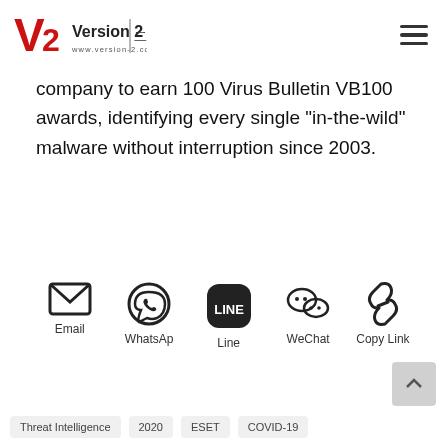Version 2 www.version-2.com
company to earn 100 Virus Bulletin VB100 awards, identifying every single “in-the-wild” malware without interruption since 2003.
[Figure (infographic): Social sharing icons row: Email, WhatsApp, Line, WeChat, Copy Link]
Threat Intelligence  2020  ESET  COVID-19